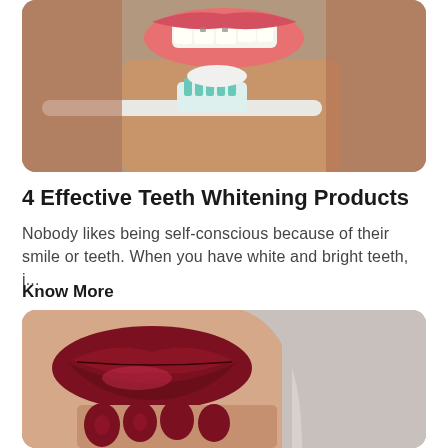[Figure (photo): Close-up photo of a woman holding a toothbrush with white toothpaste up to her smiling mouth showing white teeth, against a gray background.]
4 Effective Teeth Whitening Products
Nobody likes being self-conscious because of their smile or teeth. When you have white and bright teeth, i...
Know More
[Figure (photo): Close-up photo of a woman with dark red lipstick and dark red nail polish on her fingers, against a light background.]